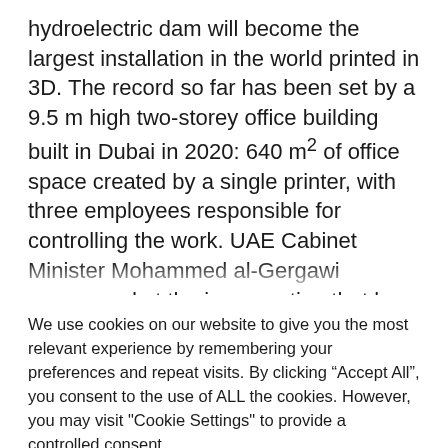hydroelectric dam will become the largest installation in the world printed in 3D. The record so far has been set by a 9.5 m high two-storey office building built in Dubai in 2020: 640 m² of office space created by a single printer, with three employees responsible for controlling the work. UAE Cabinet Minister Mohammed al-Gergawi announced at the inauguration that by 2030,
We use cookies on our website to give you the most relevant experience by remembering your preferences and repeat visits. By clicking “Accept All”, you consent to the use of ALL the cookies. However, you may visit "Cookie Settings" to provide a controlled consent.